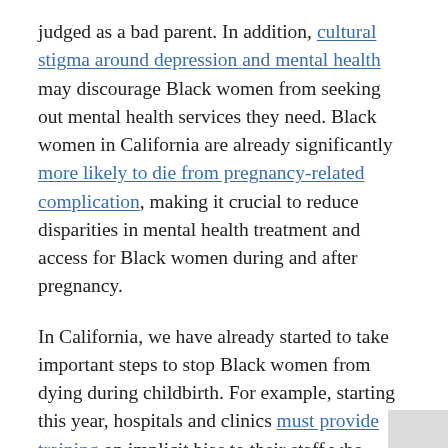judged as a bad parent. In addition, cultural stigma around depression and mental health may discourage Black women from seeking out mental health services they need. Black women in California are already significantly more likely to die from pregnancy-related complication, making it crucial to reduce disparities in mental health treatment and access for Black women during and after pregnancy.
In California, we have already started to take important steps to stop Black women from dying during childbirth. For example, starting this year, hospitals and clinics must provide training on implicit bias to their staff who provide care to pregnant people. This is particularly important because providers often do not believe Black